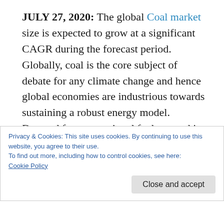JULY 27, 2020: The global Coal market size is expected to grow at a significant CAGR during the forecast period. Globally, coal is the core subject of debate for any climate change and hence global economies are industrious towards sustaining a robust energy model. Demand for conventional fuels surged in 2018 due to factors like rise in coal trade, high pricing and moderate growth in the mining sector. It accounts for more than 20% global
Privacy & Cookies: This site uses cookies. By continuing to use this website, you agree to their use.
To find out more, including how to control cookies, see here:
Cookie Policy
Close and accept